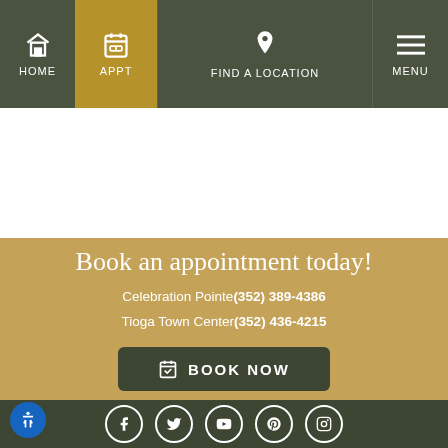HOME | APPT | FIND A LOCATION | MENU
Book an appointment today!
Celebration Pointe(352) 389-4386
Tioga Town Center(352) 436-4215
BOOK NOW
Social media icons: Facebook, Twitter, YouTube, Pinterest, Instagram